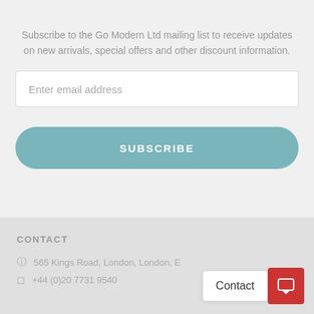Subscribe to the Go Modern Ltd mailing list to receive updates on new arrivals, special offers and other discount information.
Enter email address
SUBSCRIBE
CONTACT
565 Kings Road, London, London, E
+44 (0)20 7731 9540
Contact